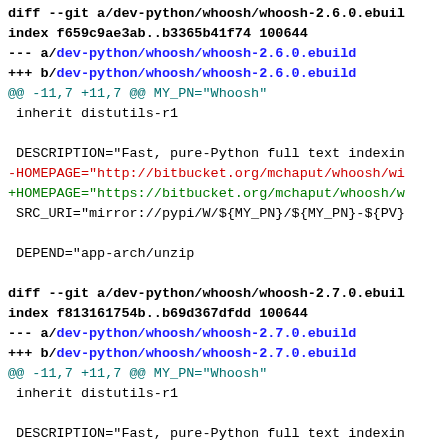diff --git a/dev-python/whoosh/whoosh-2.6.0.ebuild
index f659c9ae3ab..b3365b41f74 100644
--- a/dev-python/whoosh/whoosh-2.6.0.ebuild
+++ b/dev-python/whoosh/whoosh-2.6.0.ebuild
@@ -11,7 +11,7 @@ MY_PN="Whoosh"
inherit distutils-r1
DESCRIPTION="Fast, pure-Python full text indexin
-HOMEPAGE="http://bitbucket.org/mchaput/whoosh/wi
+HOMEPAGE="https://bitbucket.org/mchaput/whoosh/w
SRC_URI="mirror://pypi/W/${MY_PN}/${MY_PN}-${PV}
DEPEND="app-arch/unzip
diff --git a/dev-python/whoosh/whoosh-2.7.0.ebuild
index f813161754b..b69d367dfdd 100644
--- a/dev-python/whoosh/whoosh-2.7.0.ebuild
+++ b/dev-python/whoosh/whoosh-2.7.0.ebuild
@@ -11,7 +11,7 @@ MY_PN="Whoosh"
inherit distutils-r1
DESCRIPTION="Fast, pure-Python full text indexin